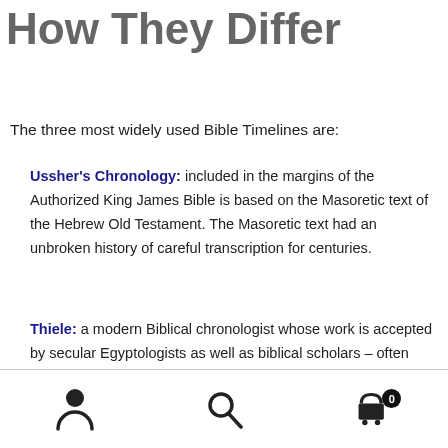How They Differ
The three most widely used Bible Timelines are:
Ussher's Chronology: included in the margins of the Authorized King James Bible is based on the Masoretic text of the Hebrew Old Testament. The Masoretic text had an unbroken history of careful transcription for centuries.
Thiele: a modern Biblical chronologist whose work is accepted by secular Egyptologists as well as biblical scholars – often used by modern Evangelicals.
[person icon] [search icon] [cart icon with badge 0]